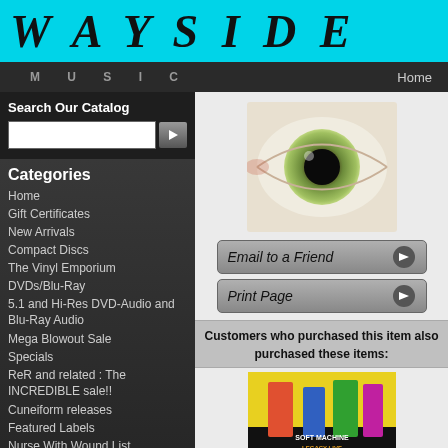WAYSIDE MUSIC - Home
Search Our Catalog
Categories
Home
Gift Certificates
New Arrivals
Compact Discs
The Vinyl Emporium
DVDs/Blu-Ray
5.1 and Hi-Res DVD-Audio and Blu-Ray Audio
Mega Blowout Sale
Specials
ReR and related : The INCREDIBLE sale!!
Cuneiform releases
Featured Labels
Nurse With Wound List
Brit-Jazz and related
Cardiacs and related
Japanese Rock and related
Krautrock / Kosmische Musik and
[Figure (photo): Close-up photograph of a human eye with green/hazel iris]
Email to a Friend
Print Page
Customers who purchased this item also purchased these items:
[Figure (photo): Album cover of Soft Machine Legacy - Live In Zaandam CD]
Soft Machine Legacy - Live In Zaandaam CD
[Figure (photo): Second album image partially visible at bottom]